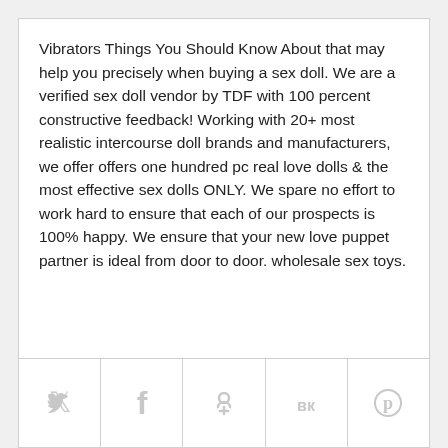Vibrators Things You Should Know About that may help you precisely when buying a sex doll. We are a verified sex doll vendor by TDF with 100 percent constructive feedback! Working with 20+ most realistic intercourse doll brands and manufacturers, we offer offers one hundred pc real love dolls & the most effective sex dolls ONLY. We spare no effort to work hard to ensure that each of our prospects is 100% happy. We ensure that your new love puppet partner is ideal from door to door. wholesale sex toys.
[Figure (other): Social share bar with icons for Twitter, Facebook, Odnoklassniki, VKontakte, and Pinterest]